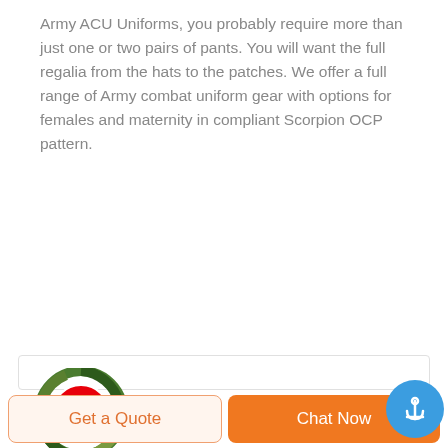Army ACU Uniforms, you probably require more than just one or two pairs of pants. You will want the full regalia from the hats to the patches. We offer a full range of Army combat uniform gear with options for females and maternity in compliant Scorpion OCP pattern.
[Figure (logo): Deekon brand logo: circular camouflage emblem with red letter D, and bold red DEEKON text below]
[Figure (photo): Black riot/military helmet with metal cage face shield visor]
Get a Quote
Chat Now